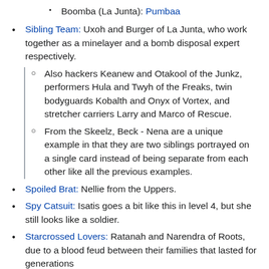Boomba (La Junta): Pumbaa
Sibling Team: Uxoh and Burger of La Junta, who work together as a minelayer and a bomb disposal expert respectively.
Also hackers Keanew and Otakool of the Junkz, performers Hula and Twyh of the Freaks, twin bodyguards Kobalth and Onyx of Vortex, and stretcher carriers Larry and Marco of Rescue.
From the Skeelz, Beck - Nena are a unique example in that they are two siblings portrayed on a single card instead of being separate from each other like all the previous examples.
Spoiled Brat: Nellie from the Uppers.
Spy Catsuit: Isatis goes a bit like this in level 4, but she still looks like a soldier.
Starcrossed Lovers: Ratanah and Narendra of Roots, due to a blood feud between their families that lasted for generations.